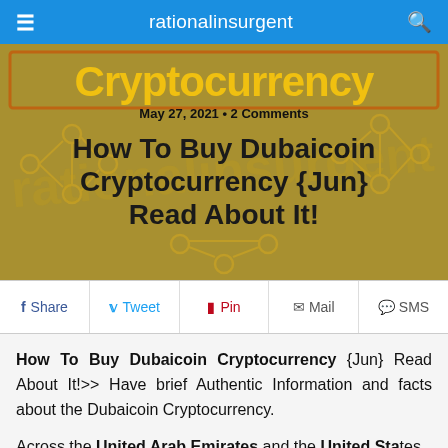rationalinsurgent
[Figure (photo): Cryptocurrency themed hero image with golden blockchain network illustration and the word 'Cryptocurrency' in large gold letters on a dark olive/gold background]
May 27, 2021 • 2 Comments
How To Buy Dubaicoin Cryptocurrency {Jun} Read About It!
Share  Tweet  Pin  Mail  SMS
How To Buy Dubaicoin Cryptocurrency {Jun} Read About It!>> Have brief Authentic Information and facts about the Dubaicoin Cryptocurrency.
Across the United Arab Emirates and the United States omanizing people are also starting to invest...